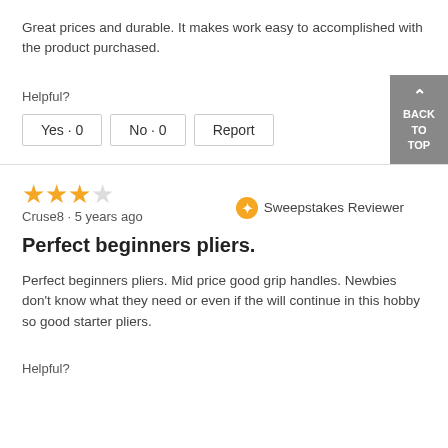Great prices and durable. It makes work easy to accomplished with the product purchased.
Helpful?
Yes · 0   No · 0   Report
★★★★☆  Sweepstakes Reviewer
Cruse8 · 5 years ago
Perfect beginners pliers.
Perfect beginners pliers. Mid price good grip handles. Newbies don't know what they need or even if the will continue in this hobby so good starter pliers.
Helpful?